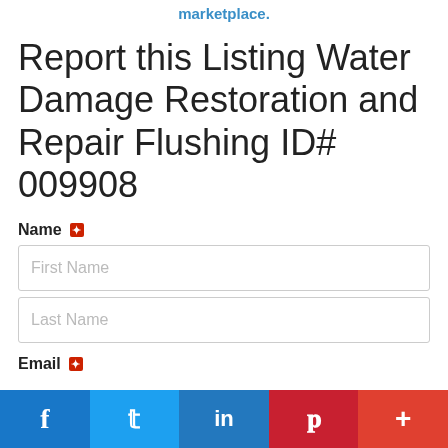marketplace.
Report this Listing Water Damage Restoration and Repair Flushing ID# 009908
Name ✦
First Name
Last Name
Email ✦